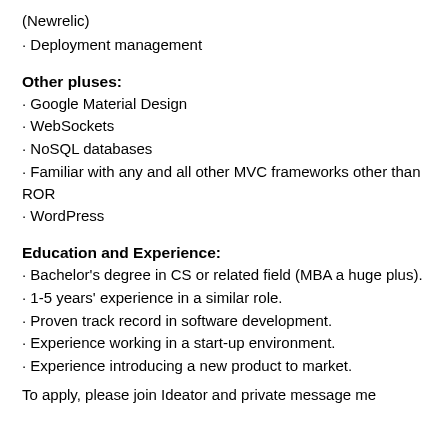(Newrelic)
· Deployment management
Other pluses:
· Google Material Design
· WebSockets
· NoSQL databases
· Familiar with any and all other MVC frameworks other than ROR
· WordPress
Education and Experience:
· Bachelor's degree in CS or related field (MBA a huge plus).
· 1-5 years' experience in a similar role.
· Proven track record in software development.
· Experience working in a start-up environment.
· Experience introducing a new product to market.
To apply, please join Ideator and private message me